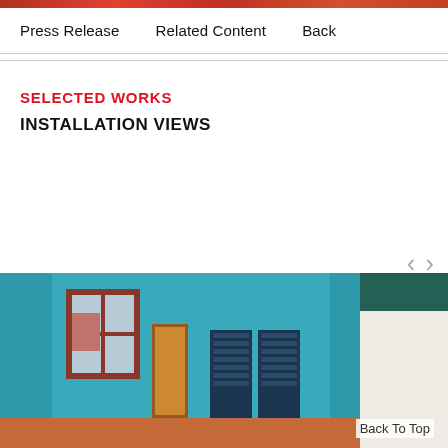[Figure (photo): Decorative colored top bar strip]
Press Release   Related Content   Back
SELECTED WORKS
INSTALLATION VIEWS
[Figure (photo): Painting of a room interior with teal/turquoise walls, a window with a red frame on the left, a door frame in the center, and bookshelves on the right. Second painting partially visible on the right edge.]
Back To Top